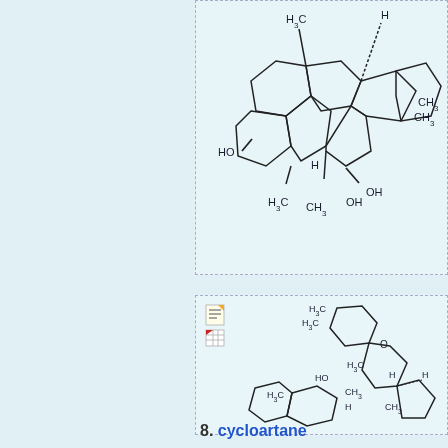[Figure (schematic): Partial chemical structure diagram of a polycyclic compound (top portion), showing steroid-like ring system with substituents: HO, H3C, CH3, CH3, OH, H groups on fused cyclohexane rings]
[Figure (schematic): Full chemical structure diagram of cycloartane compound showing polycyclic ring system with groups: H3C, H3C (on cyclohexane with O bridge), H3C, HO, H, H (on upper rings), H3C, CH3, H, CH3 (on middle rings), HO, H3C, CH3, H, OH (on lower rings). Two small toolbar icons visible at top-left of bounding box.]
8. cycloartane